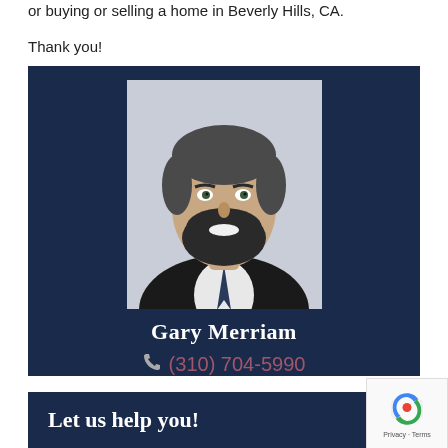or buying or selling a home in Beverly Hills, CA.
Thank you!
[Figure (photo): Professional headshot of Gary Merriam, a man with salt-and-pepper hair and a full beard, wearing a dark suit and tie, smiling, against a light background. Card has dark navy background with his name 'Gary Merriam' in white serif font and phone number '(310) 704-5990' in dark red/maroon with a phone icon.]
Let us help you!